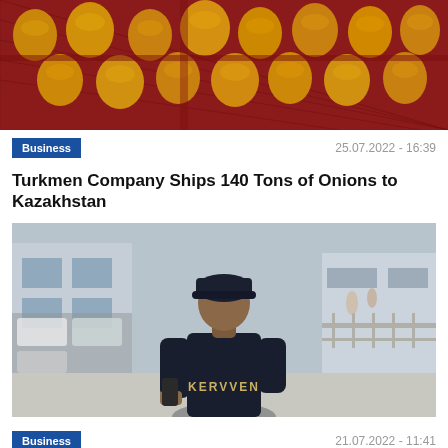[Figure (photo): Red mesh bags filled with onions/produce stacked together]
Business
25.07.2022 - 16:39
Turkmen Company Ships 140 Tons of Onions to Kazakhstan
[Figure (photo): Man wearing a dark navy KERVVEN polo shirt and cap, viewed from behind, looking at a phone, standing outside a building with parked cars]
Business
21.07.2022 - 11:41